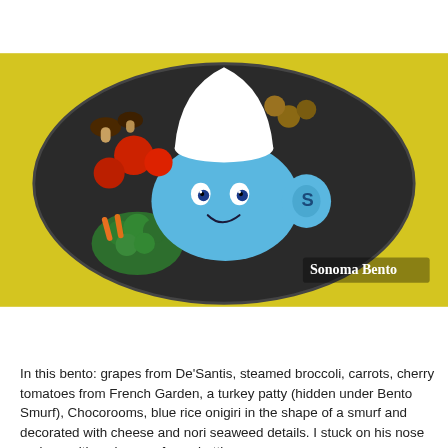[Figure (photo): A bento box on a yellow background shaped like a Smurf character, containing blue rice onigiri, cherry tomatoes, broccoli, carrots, grapes, mushroom-shaped Chocorooms, with a white cheese hat and nori seaweed details. Text overlay reads 'Sonoma Bento'.]
In this bento: grapes from De'Santis, steamed broccoli, carrots, cherry tomatoes from French Garden, a turkey patty (hidden under Bento Smurf), Chocorooms, blue rice onigiri in the shape of a smurf and decorated with cheese and nori seaweed details. I stuck on his nose and ear with a skewer of spaghetti.
[Figure (photo): A box of Chocorooms by Meiji brand showing chocolate mushroom-shaped snacks arranged in front of the packaging. The box reads 'CHOCOROOMS' in large letters, with Meiji logo and tagline 'Makes the world a little sweeter.' Net weight 3.13oz (89g). Bottom text partially visible: 'A DELICIOUS COMBINATION AND CRISPY CRACKER'.]